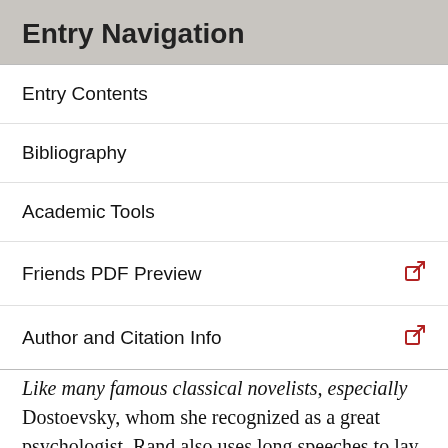Entry Navigation
Entry Contents
Bibliography
Academic Tools
Friends PDF Preview
Author and Citation Info
Like many famous classical novelists, especially Dostoevsky, whom she recognized as a great psychologist, Rand also uses long speeches to lay out her philosophy, a device that has both its supporters and its detractors. She described Atlas Shrugged as a “stunt novel” and a murder mystery—the murder of the human soul by a collectivist culture. By “soul,” however, she meant not an immortal substance that survives the death of the body—she is not a dualist in any aspect of her philosophy—but the mind, or the human spirit that celebrates life on this earth. The novel shows what happens when “the men of mind”—the “prime movers,”